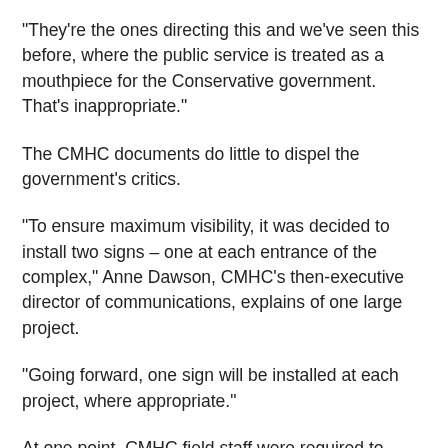"They're the ones directing this and we've seen this before, where the public service is treated as a mouthpiece for the Conservative government. That's inappropriate."
The CMHC documents do little to dispel the government's critics.
"To ensure maximum visibility, it was decided to install two signs – one at each entrance of the complex," Anne Dawson, CMHC's then-executive director of communications, explains of one large project.
"Going forward, one sign will be installed at each project, where appropriate."
At one point, CMHC field staff were required to phone every single First Nation band office with an outstanding project in an effort to determine whether signs had been erected, and if not why.